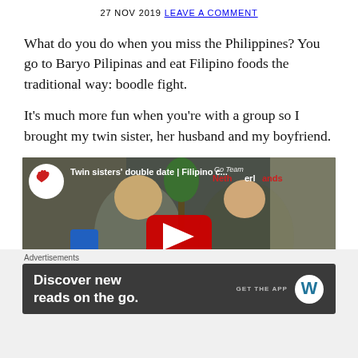27 NOV 2019   LEAVE A COMMENT
What do you do when you miss the Philippines? You go to Baryo Pilipinas and eat Filipino foods the traditional way: boodle fight.
It’s much more fun when you’re with a group so I brought my twin sister, her husband and my boyfriend.
[Figure (screenshot): YouTube video embed thumbnail showing 'Twin sisters' double date | Filipino c...' with two people sitting at a restaurant table, YouTube play button overlay, and team Netherlands branding]
Advertisements
[Figure (infographic): WordPress.com advertisement: 'Discover new reads on the go. GET THE APP' with WordPress logo]